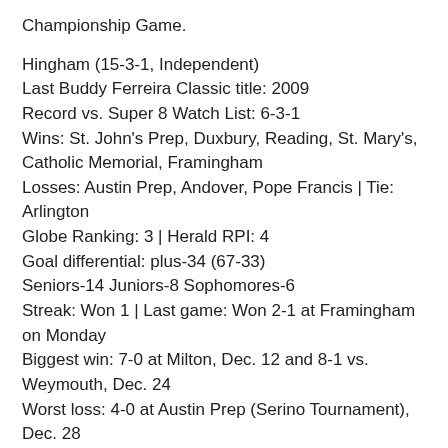Championship Game.
Hingham (15-3-1, Independent)
Last Buddy Ferreira Classic title: 2009
Record vs. Super 8 Watch List: 6-3-1
Wins: St. John's Prep, Duxbury, Reading, St. Mary's, Catholic Memorial, Framingham
Losses: Austin Prep, Andover, Pope Francis | Tie: Arlington
Globe Ranking: 3 | Herald RPI: 4
Goal differential: plus-34 (67-33)
Seniors-14 Juniors-8 Sophomores-6
Streak: Won 1 | Last game: Won 2-1 at Framingham on Monday
Biggest win: 7-0 at Milton, Dec. 12 and 8-1 vs. Weymouth, Dec. 24
Worst loss: 4-0 at Austin Prep (Serino Tournament), Dec. 28
Leading scorer: Will Kenney, Sr. (10-20--30)
Arlington Catholic (8-7-2, 5-5 Catholic Central)
Last Buddy Ferreira Classic title: 2012